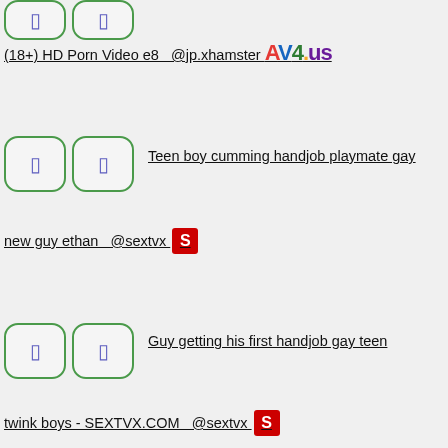(18+) HD Porn Video e8  @jp.xhamster AV4.us
[Figure (screenshot): Two rounded-rectangle thumbnail placeholders with blue bracket icons, green border]
Teen boy cumming handjob playmate gay new guy ethan  @sextvx [S badge]
[Figure (screenshot): Two rounded-rectangle thumbnail placeholders with blue bracket icons, green border]
Guy getting his first handjob gay teen twink boys - SEXTVX.COM  @sextvx [S badge]